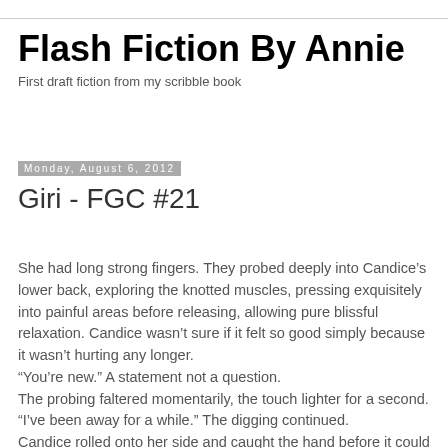Flash Fiction By Annie
First draft fiction from my scribble book
Monday, August 6, 2012
Giri - FGC #21
She had long strong fingers. They probed deeply into Candice’s lower back, exploring the knotted muscles, pressing exquisitely into painful areas before releasing, allowing pure blissful relaxation. Candice wasn’t sure if it felt so good simply because it wasn’t hurting any longer. “You’re new.” A statement not a question. The probing faltered momentarily, the touch lighter for a second. “I’ve been away for a while.” The digging continued. Candice rolled onto her side and caught the hand before it could withdraw. Her towel slipped revealing a breast. Both